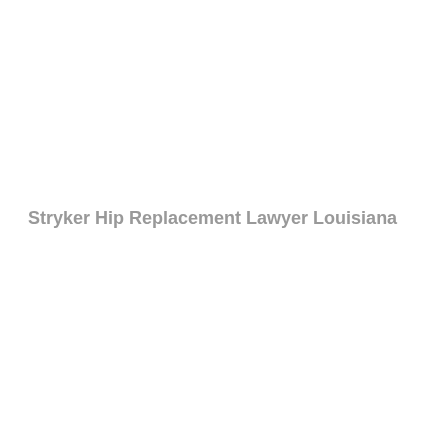Stryker Hip Replacement Lawyer Louisiana